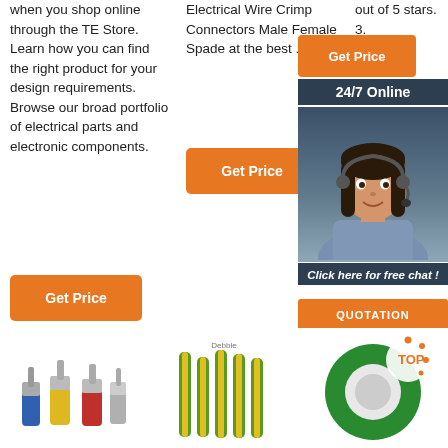when you shop online through the TE Store. Learn how you can find the right product for your design requirements. Browse our broad portfolio of electrical parts and electronic components.
[Figure (other): Orange 'Get Price' button (column 1)]
Electrical Wire Crimp Connectors Male Female Spade at the best ...
[Figure (other): Orange 'Get Price' button (column 2)]
out of 5 stars. 3.
[Figure (other): Right sidebar ad with orange Get Price button, 24/7 Online text, customer service representative photo, 'Click here for free chat!' text, and orange QUOTATION button]
[Figure (photo): Product images row: electrical crimp connectors, heat shrink tubing, green electrical tape roll with TOP logo]